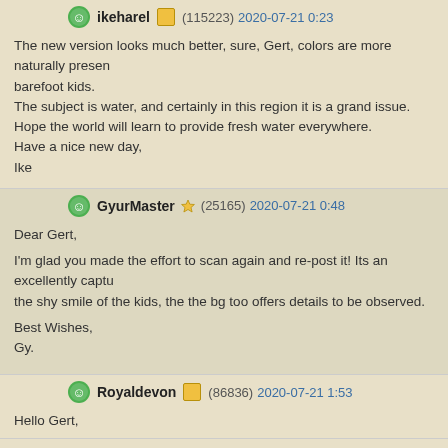ikeharel (115223) 2020-07-21 0:23
The new version looks much better, sure, Gert, colors are more naturally present barefoot kids.
The subject is water, and certainly in this region it is a grand issue.
Hope the world will learn to provide fresh water everywhere.
Have a nice new day,
Ike
GyurMaster (25165) 2020-07-21 0:48
Dear Gert,
I'm glad you made the effort to scan again and re-post it! Its an excellently capt the shy smile of the kids, the the bg too offers details to be observed.
Best Wishes,
Gy.
Royaldevon (86836) 2020-07-21 1:53
Hello Gert,